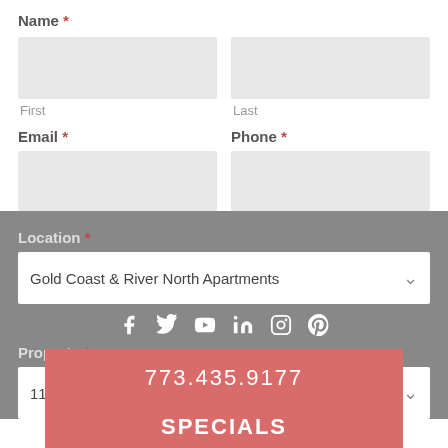Name *
First
Last
Email *
Phone *
[Figure (screenshot): ASK ABOUT OUR SPECIALS overlay banner in salmon/pink color]
Location *
Gold Coast & River North Apartments
[Figure (infographic): Social media icons row: Facebook, Twitter, YouTube, LinkedIn, Instagram, Pinterest in white]
Property *
773.435.9177
1120 N. LaSalle